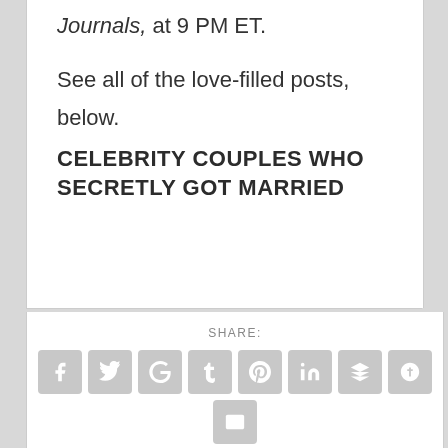Journals, at 9 PM ET.
See all of the love-filled posts, below.
CELEBRITY COUPLES WHO SECRETLY GOT MARRIED
SHARE:
[Figure (other): Row of social media share icon buttons: Facebook, Twitter, Google+, Tumblr, Pinterest, LinkedIn, Buffer, StumbleUpon, Email; and below a Print button]